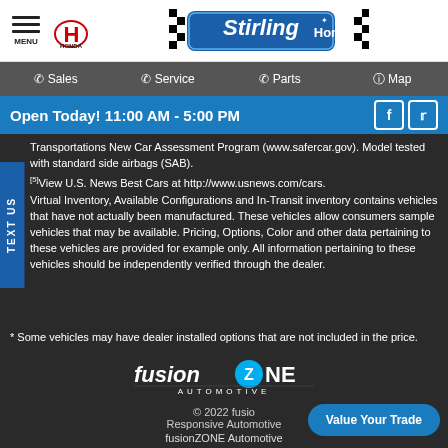MENU | HONDA | Stirling Honda
Sales | Service | Parts | Map
Open Today! 11:00 AM - 5:00 PM
Transportations New Car Assessment Program (www.safercar.gov). Model tested with standard side airbags (SAB).
[5] View U.S. News Best Cars at http://www.usnews.com/cars.
Virtual Inventory, Available Configurations and In-Transit inventory contains vehicles that have not actually been manufactured. These vehicles allow consumers sample vehicles that may be available. Pricing, Options, Color and other data pertaining to these vehicles are provided for example only. All information pertaining to these vehicles should be independently verified through the dealer.
* Some vehicles may have dealer installed options that are not included in the price.
[Figure (logo): fusionZONE Automotive logo]
© 2022 fusionZONE Automotive. Responsive Automotive ... fusionZONE Automotive